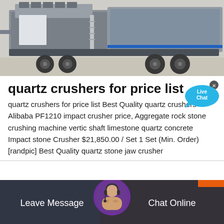[Figure (photo): Industrial mobile crusher/screening machine on a wheeled trailer chassis in a warehouse setting. Large grey and blue heavy machinery.]
quartz crushers for price list
quartz crushers for price list Best Quality quartz crushers Alibaba PF1210 impact crusher price, Aggregate rock stone crushing machine vertic shaft limestone quartz concrete Impact stone Crusher $21,850.00 / Set 1 Set (Min. Order) [randpic] Best Quality quartz stone jaw crusher
[Figure (screenshot): Live Chat speech bubble icon in blue with 'Live Chat' text and an x close button]
[Figure (photo): Bottom bar showing a customer support agent with headset, with 'Leave Message' on the left and 'Chat Online' on the right over a dark overlay background]